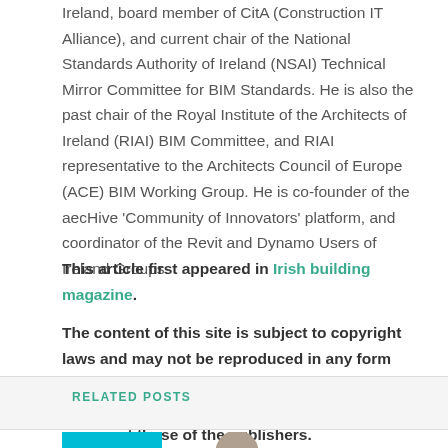Ireland, board member of CitA (Construction IT Alliance), and current chair of the National Standards Authority of Ireland (NSAI) Technical Mirror Committee for BIM Standards. He is also the past chair of the Royal Institute of the Architects of Ireland (RIAI) BIM Committee, and RIAI representative to the Architects Council of Europe (ACE) BIM Working Group. He is co-founder of the aecHive 'Community of Innovators' platform, and coordinator of the Revit and Dynamo Users of Ireland Groups.
This article first appeared in Irish building magazine.
The content of this site is subject to copyright laws and may not be reproduced in any form without the prior consent of the publishers. The views expressed in articles do not necessarily represent those of the publishers.
RELATED POSTS
[Figure (photo): Teal/cyan colored rectangle thumbnail and partial person silhouette photo at bottom of page]